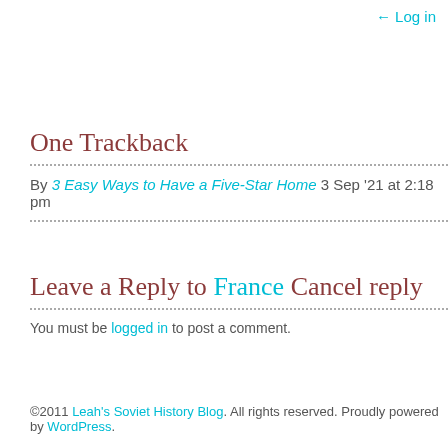← Log in
One Trackback
By 3 Easy Ways to Have a Five-Star Home 3 Sep '21 at 2:18 pm
Leave a Reply to France Cancel reply
You must be logged in to post a comment.
©2011 Leah's Soviet History Blog. All rights reserved. Proudly powered by WordPress.